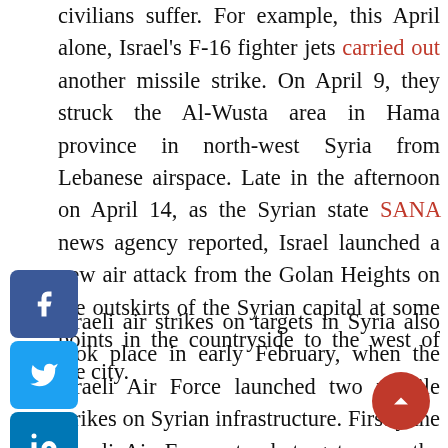civilians suffer. For example, this April alone, Israel's F-16 fighter jets carried out another missile strike. On April 9, they struck the Al-Wusta area in Hama province in north-west Syria from Lebanese airspace. Late in the afternoon on April 14, as the Syrian state SANA news agency reported, Israel launched a new air attack from the Golan Heights on the outskirts of the Syrian capital at some points in the countryside to the west of the city.
Israeli air strikes on targets in Syria also took place in early February, when the Israeli Air Force launched two missile strikes on Syrian infrastructure. Firstly the Israeli Air Force struck targets near the town of Kiswah of Damascus province. The second strike was